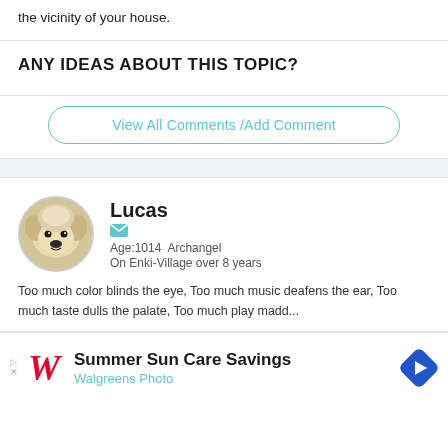the vicinity of your house.
ANY IDEAS ABOUT THIS TOPIC?
View All Comments /Add Comment
Lucas
Age:1014  Archangel
On Enki-Village over 8 years
Too much color blinds the eye, Too much music deafens the ear, Too much taste dulls the palate, Too much play madd...
Summer Sun Care Savings
Walgreens Photo